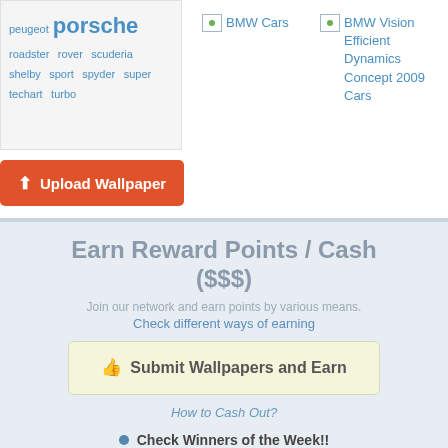peugeot porsche roadster rover scuderia shelby sport spyder super techart turbo
[Figure (screenshot): Upload Wallpaper button (orange)]
[Figure (screenshot): BMW Cars image placeholder link]
[Figure (screenshot): BMW Vision Efficient Dynamics Concept 2009 Cars image placeholder link]
Earn Reward Points / Cash ($$$)
Join our network and earn points by various means.
Check different ways of earning
Submit Wallpapers and Earn
How to Cash Out?
Check Winners of the Week!!